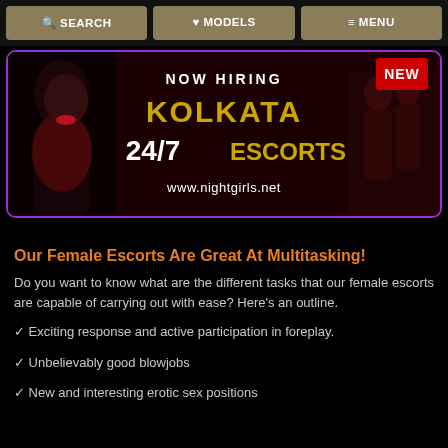SEARCH  MODELS  MENU
[Figure (photo): Advertisement banner for Kolkata 24/7 Escorts with woman photo on left, text 'NOW HIRING KOLKATA 24/7 ESCORTS' in gold and white, 'NEW' badge top right, url www.nightgirls.net at bottom, purple border]
Our Female Escorts Are Great At Multitasking!
Do you want to know what are the different tasks that our female escorts are capable of carrying out with ease? Here's an outline.
✓ Exciting response and active participation in foreplay.
✓ Unbelievably good blowjobs
✓ New and interesting erotic sex positions